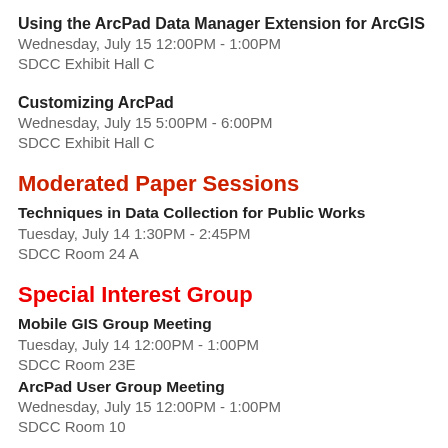Using the ArcPad Data Manager Extension for ArcGIS
Wednesday, July 15 12:00PM - 1:00PM
SDCC Exhibit Hall C
Customizing ArcPad
Wednesday, July 15 5:00PM - 6:00PM
SDCC Exhibit Hall C
Moderated Paper Sessions
Techniques in Data Collection for Public Works
Tuesday, July 14 1:30PM - 2:45PM
SDCC Room 24 A
Special Interest Group
Mobile GIS Group Meeting
Tuesday, July 14 12:00PM - 1:00PM
SDCC Room 23E
ArcPad User Group Meeting
Wednesday, July 15 12:00PM - 1:00PM
SDCC Room 10